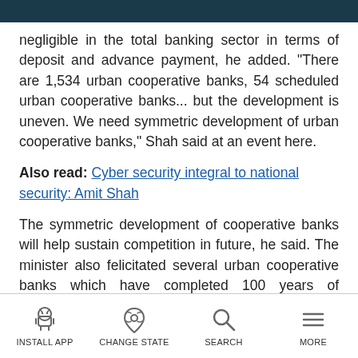negligible in the total banking sector in terms of deposit and advance payment, he added. "There are 1,534 urban cooperative banks, 54 scheduled urban cooperative banks... but the development is uneven. We need symmetric development of urban cooperative banks," Shah said at an event here.
Also read: Cyber security integral to national security: Amit Shah
The symmetric development of cooperative banks will help sustain competition in future, he said. The minister also felicitated several urban cooperative banks which have completed 100 years of operation. Minister of state for cooperation B L Verma, National
INSTALL APP  CHANGE STATE  SEARCH  MORE